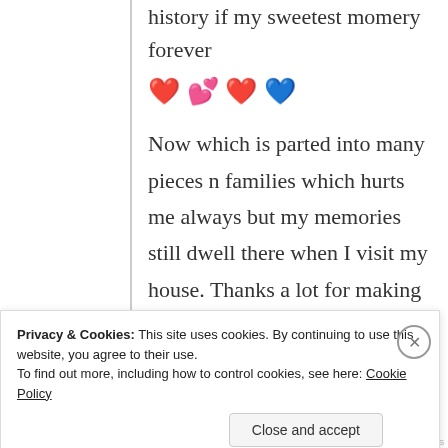history if my sweetest momery forever ❤️ 💕 ❤️ 💙
Now which is parted into many pieces n families which hurts me always but my memories still dwell there when I visit my house. Thanks a lot for making my day with the sweetest reminder!
So, do you think I speak Urdu coz I spent my years of time with a Urdu
Privacy & Cookies: This site uses cookies. By continuing to use this website, you agree to their use.
To find out more, including how to control cookies, see here: Cookie Policy